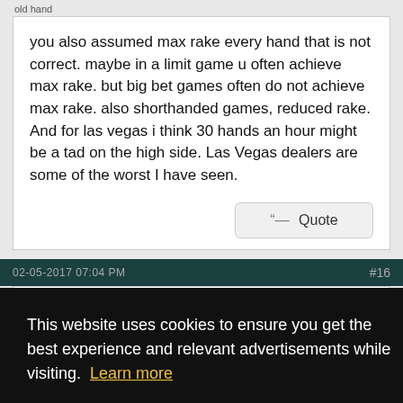old hand
you also assumed max rake every hand that is not correct. maybe in a limit game u often achieve max rake. but big bet games often do not achieve max rake. also shorthanded games, reduced rake. And for las vegas i think 30 hands an hour might be a tad on the high side. Las Vegas dealers are some of the worst I have seen.
Quote
02-05-2017 07:04 PM   #16
r 5 or aren't
ote
This website uses cookies to ensure you get the best experience and relevant advertisements while visiting.  Learn more
Got it!